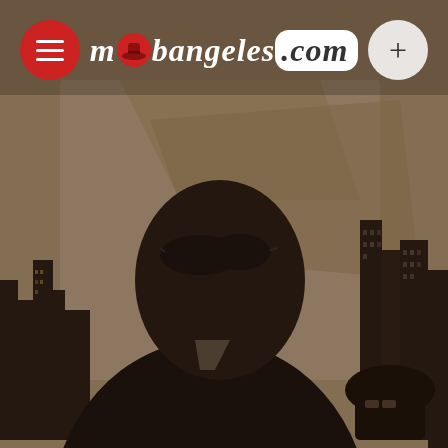[Figure (screenshot): Website screenshot of mobangeles.com showing a sepia-toned music video still. A man in dark sunglasses and dark clothing is in the foreground, with a city skyline silhouette backdrop. Another person in a hat is visible in the lower right. The site header overlays the top of the image.]
mobangeles.com